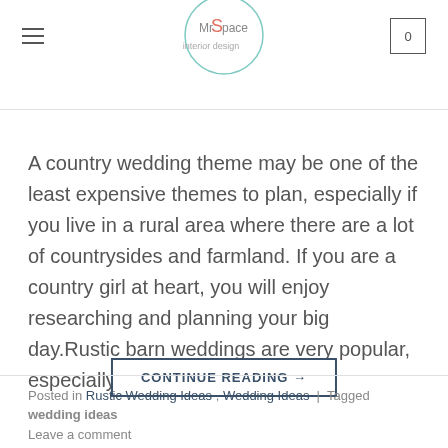MrSpace — hamburger menu, logo, cart (0)
A country wedding theme may be one of the least expensive themes to plan, especially if you live in a rural area where there are a lot of countrysides and farmland. If you are a country girl at heart, you will enjoy researching and planning your big day.Rustic barn weddings are very popular, especially in [...]
CONTINUE READING →
Posted in Rustic Wedding Ideas , Wedding Ideas | Tagged wedding ideas Leave a comment